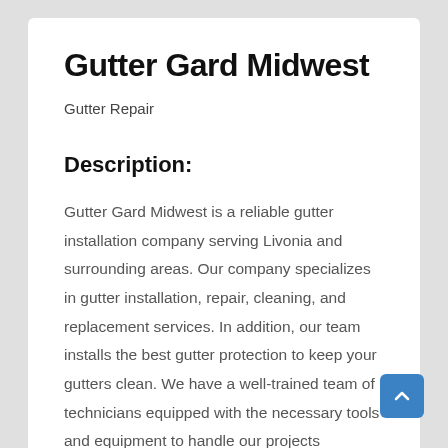Gutter Gard Midwest
Gutter Repair
Description:
Gutter Gard Midwest is a reliable gutter installation company serving Livonia and surrounding areas. Our company specializes in gutter installation, repair, cleaning, and replacement services. In addition, our team installs the best gutter protection to keep your gutters clean. We have a well-trained team of technicians equipped with the necessary tools and equipment to handle our projects professionally. As the number one Livonia gutter installation company, we have built an excellent reputation serving residents